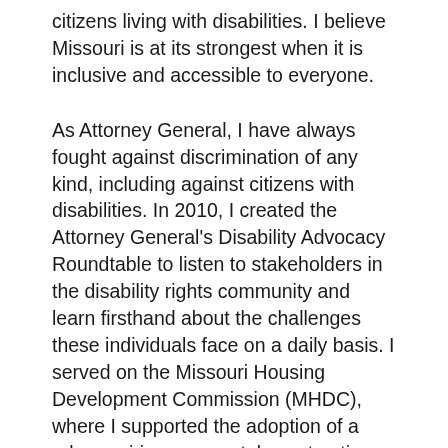citizens living with disabilities. I believe Missouri is at its strongest when it is inclusive and accessible to everyone.
As Attorney General, I have always fought against discrimination of any kind, including against citizens with disabilities. In 2010, I created the Attorney General's Disability Advocacy Roundtable to listen to stakeholders in the disability rights community and learn firsthand about the challenges these individuals face on a daily basis. I served on the Missouri Housing Development Commission (MHDC), where I supported the adoption of a rule requiring new rental construction built through MHDC funding be designed to accommodate people with disabilities. My office recently rebuilt its public website with additional accessibility features. For example, the new website includes alternative text throughout to assist users who employ screen readers in understanding the